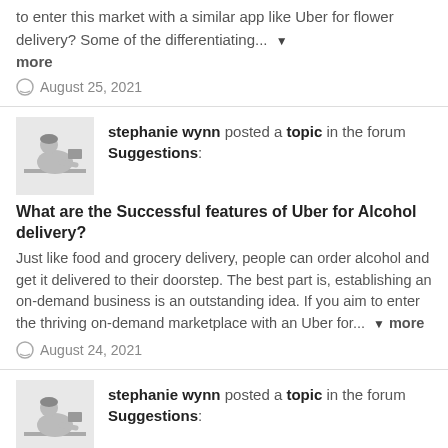to enter this market with a similar app like Uber for flower delivery? Some of the differentiating... more
August 25, 2021
stephanie wynn posted a topic in the forum Suggestions:
What are the Successful features of Uber for Alcohol delivery?
Just like food and grocery delivery, people can order alcohol and get it delivered to their doorstep. The best part is, establishing an on-demand business is an outstanding idea. If you aim to enter the thriving on-demand marketplace with an Uber for... more
August 24, 2021
stephanie wynn posted a topic in the forum Suggestions:
What is the cost to develop the UrbanClap clone app?
The cost of developing an on-demand home service app is based on several factors. Below are a few of the key factors that determine the UrbanClap app